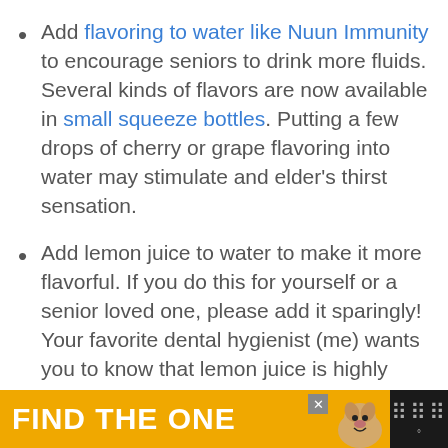Add flavoring to water like Nuun Immunity to encourage seniors to drink more fluids. Several kinds of flavors are now available in small squeeze bottles. Putting a few drops of cherry or grape flavoring into water may stimulate and elder's thirst sensation.
Add lemon juice to water to make it more flavorful. If you do this for yourself or a senior loved one, please add it sparingly! Your favorite dental hygienist (me) wants you to know that lemon juice is highly acidic. Using it to flavor water can rapidly lead to tooth decay.
[Figure (infographic): Advertisement banner: yellow background with bold white text 'FIND THE ONE' and a dog image on the right side, with close button and app icon area]